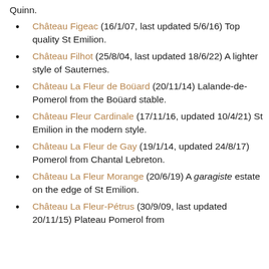Quinn.
Château Figeac (16/1/07, last updated 5/6/16) Top quality St Emilion.
Château Filhot (25/8/04, last updated 18/6/22) A lighter style of Sauternes.
Château La Fleur de Boüard (20/11/14) Lalande-de-Pomerol from the Boüard stable.
Château Fleur Cardinale (17/11/16, updated 10/4/21) St Emilion in the modern style.
Château La Fleur de Gay (19/1/14, updated 24/8/17) Pomerol from Chantal Lebreton.
Château La Fleur Morange (20/6/19) A garagiste estate on the edge of St Emilion.
Château La Fleur-Pétrus (30/9/09, last updated 20/11/15) Plateau Pomerol from…